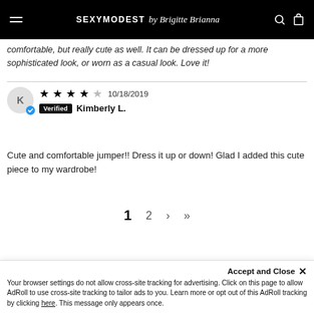SEXYMODEST by Brigitte Brianna
comfortable, but really cute as well. It can be dressed up for a more sophisticated look, or worn as a casual look. Love it!
4.5 stars 10/18/2019 Verified Kimberly L.
Cute and comfortable jumper!! Dress it up or down! Glad I added this cute piece to my wardrobe!
1  2  >  >|
Accept and Close ×
Your browser settings do not allow cross-site tracking for advertising. Click on this page to allow AdRoll to use cross-site tracking to tailor ads to you. Learn more or opt out of this AdRoll tracking by clicking here. This message only appears once.